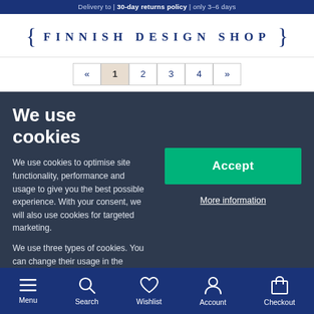Delivery to | 30-day returns policy | only 3–6 days
[Figure (logo): Finnish Design Shop logo with curly braces]
Pagination: « 1 2 3 4 »
We use cookies
We use cookies to optimise site functionality, performance and usage to give you the best possible experience. With your consent, we will also use cookies for targeted marketing.
We use three types of cookies. You can change their usage in the preferences.
Functional cookies
Statistical
Advertising
Accept
More information
Menu | Search | Wishlist | Account | Checkout